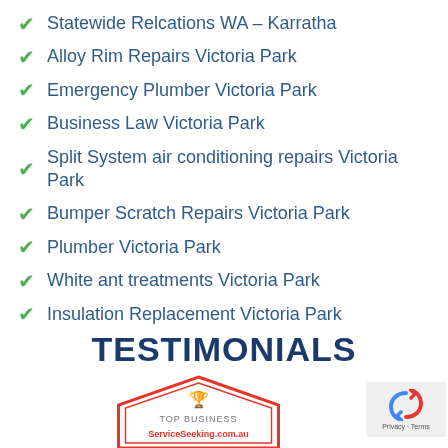Statewide Relcations WA – Karratha
Alloy Rim Repairs Victoria Park
Emergency Plumber Victoria Park
Business Law Victoria Park
Split System air conditioning repairs Victoria Park
Bumper Scratch Repairs Victoria Park
Plumber Victoria Park
White ant treatments Victoria Park
Insulation Replacement Victoria Park
TESTIMONIALS
[Figure (logo): Top Business ServiceSeeking.com.au badge with trophy icon and red border in house/shield shape]
[Figure (logo): Google reCAPTCHA widget with Privacy and Terms links]